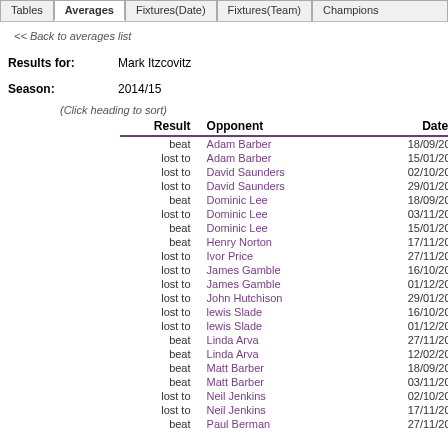Tables | Averages | Fixtures(Date) | Fixtures(Team) | Champions
<< Back to averages list
Results for: Mark Itzcovitz
Season: 2014/15
(Click heading to sort)
| Result | Opponent | Date |
| --- | --- | --- |
| beat | Adam Barber | 18/09/2014 |
| lost to | Adam Barber | 15/01/2015 |
| lost to | David Saunders | 02/10/2014 |
| lost to | David Saunders | 29/01/2015 |
| beat | Dominic Lee | 18/09/2014 |
| lost to | Dominic Lee | 03/11/2014 |
| beat | Dominic Lee | 15/01/2015 |
| beat | Henry Norton | 17/11/2014 |
| lost to | Ivor Price | 27/11/2014 |
| lost to | James Gamble | 16/10/2014 |
| lost to | James Gamble | 01/12/2014 |
| lost to | John Hutchison | 29/01/2015 |
| lost to | lewis Slade | 16/10/2014 |
| lost to | lewis Slade | 01/12/2014 |
| beat | Linda Arva | 27/11/2014 |
| beat | Linda Arva | 12/02/2015 |
| beat | Matt Barber | 18/09/2014 |
| beat | Matt Barber | 03/11/2014 |
| lost to | Neil Jenkins | 02/10/2014 |
| lost to | Neil Jenkins | 17/11/2014 |
| beat | Paul Berman | 27/11/2014 |